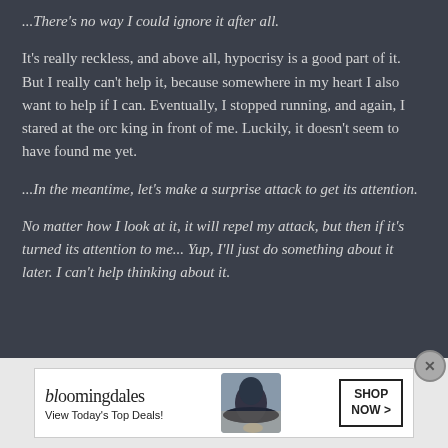...There's no way I could ignore it after all.
It's really reckless, and above all, hypocrisy is a good part of it. But I really can't help it, because somewhere in my heart I also want to help if I can. Eventually, I stopped running, and again, I stared at the orc king in front of me. Luckily, it doesn't seem to have found me yet.
...In the meantime, let's make a surprise attack to get its attention.
No matter how I look at it, it will repel my attack, but then if it's turned its attention to me... Yup, I'll just do something about it later. I can't help thinking about it.
[Figure (other): Bloomingdale's advertisement banner: logo text 'bloomingdales', tagline 'View Today's Top Deals!', image of woman in wide-brim hat, and 'SHOP NOW >' button]